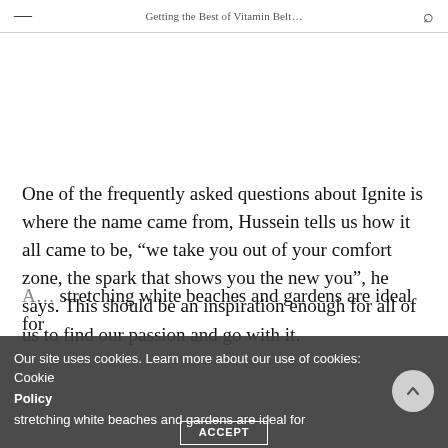Getting the Best of Vitamin Belt...
One of the frequently asked questions about Ignite is where the name came from, Hussein tells us how it all came to be, “we take you out of your comfort zone, the spark that shows you the new you”, he says. This should be an inspiration enough for all of us to find our passion and go with it.
...stretching white beaches and gardens are ideal for
Our site uses cookies. Learn more about our use of cookies: Cookie Policy